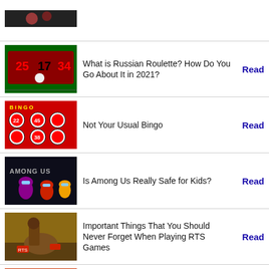[Figure (photo): Partial top image, cropped at top of page]
What is Russian Roulette? How Do You Go About It in 2021?
Not Your Usual Bingo
Is Among Us Really Safe for Kids?
Important Things That You Should Never Forget When Playing RTS Games
How Has Bingo Changed My Life?: A Web-Based Bingo Gambling Story
The Most Famous Games in Las Vegas
Do Free Online Casino